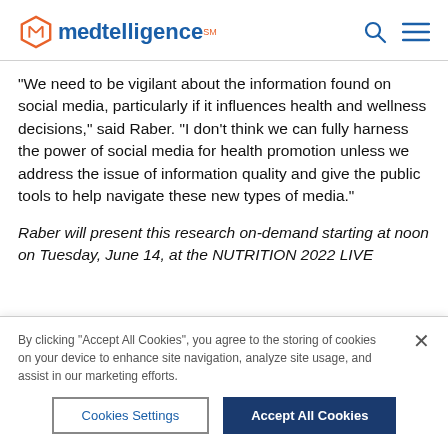medtelligence
“We need to be vigilant about the information found on social media, particularly if it influences health and wellness decisions,” said Raber. “I don’t think we can fully harness the power of social media for health promotion unless we address the issue of information quality and give the public tools to help navigate these new types of media.”
Raber will present this research on-demand starting at noon on Tuesday, June 14, at the NUTRITION 2022 LIVE
By clicking “Accept All Cookies”, you agree to the storing of cookies on your device to enhance site navigation, analyze site usage, and assist in our marketing efforts.